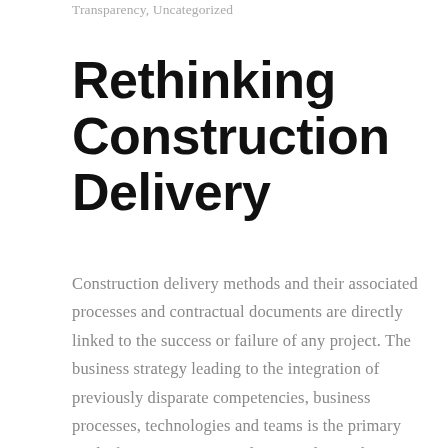Transparency, Uncategorized
Rethinking Construction Delivery
Construction delivery methods and their associated processes and contractual documents are directly linked to the success or failure of any project. The business strategy leading to the integration of previously disparate competencies, business processes, technologies and teams is the primary goal of a BIM execution plan.  Read more here from CMO, Peter Cholakis in the article...